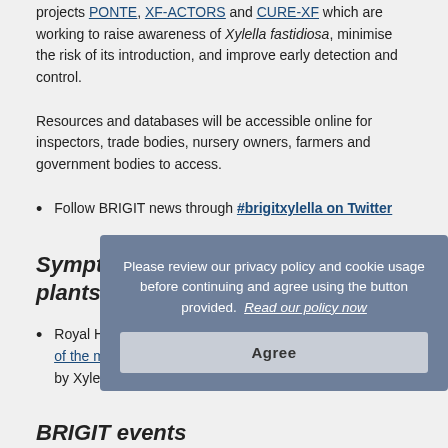projects PONTE, XF-ACTORS and CURE-XF which are working to raise awareness of Xylella fastidiosa, minimise the risk of its introduction, and improve early detection and control.
Resources and databases will be accessible online for inspectors, trade bodies, nursery owners, farmers and government bodies to access.
Follow BRIGIT news through #brigitxylella on Twitter
Symptoms induced by Xylella in plants
Royal Horticultural Society – information on identification of the most common host plants and symptoms caused by Xylella, see links under "high risks plants"
BRIGIT events
[Figure (other): Cookie/privacy policy overlay dialog with text: 'Please review our privacy policy and cookie usage before continuing and agree using the button provided. Read our policy now.' with an Agree button.]